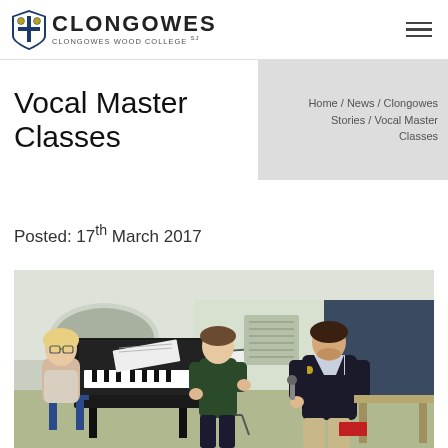CLONGOWES / Clongowes Wood College SJ
Vocal Master Classes
Home / News / Clongowes Stories / Vocal Master Classes
Posted: 17th March 2017
[Figure (photo): A woman seated at a piano on the left, while two young men stand and face each other in a music room. One is wearing a dark green jumper and the other a dark blazer with a microphone. Sheet music stands and a dark blue panel are visible in the background.]